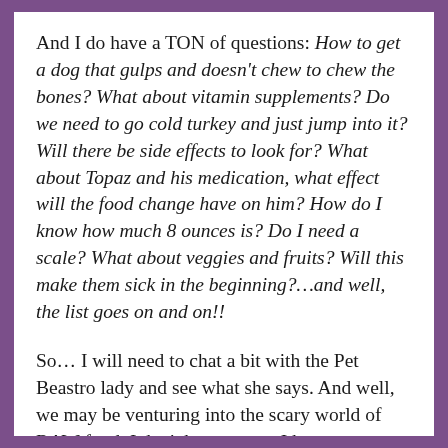And I do have a TON of questions: How to get a dog that gulps and doesn't chew to chew the bones? What about vitamin supplements? Do we need to go cold turkey and just jump into it? Will there be side effects to look for? What about Topaz and his medication, what effect will the food change have on him? How do I know how much 8 ounces is? Do I need a scale? What about veggies and fruits? Will this make them sick in the beginning?…and well, the list goes on and on!!
So… I will need to chat a bit with the Pet Beastro lady and see what she says. And well, we may be venturing into the scary world of RAW food. I don't know yet… I have